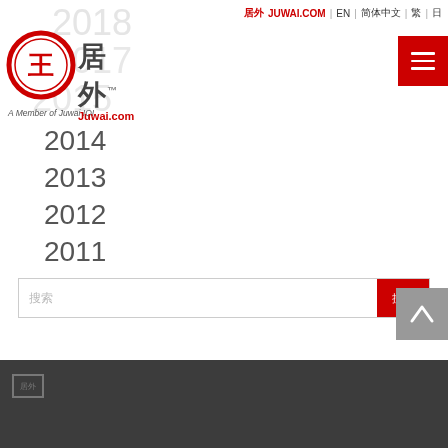居外 JUWAI.COM | EN | 简体中文 | 繁 | 日
[Figure (logo): Juwai.com logo with red circular emblem and Chinese characters 居外, tagline A Member of Juwai IQI]
2018
2017
2015
2014
2013
2012
2011
搜索
居外图标